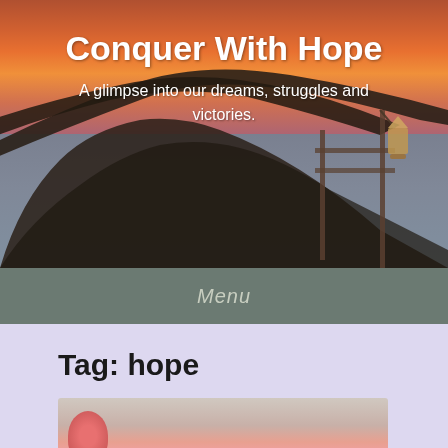[Figure (photo): Hero banner photo showing a sunset scene with a large tree branch in the foreground, a wooden dock structure with a hanging lantern, and water in the background. Orange and red sunset sky.]
Conquer With Hope
A glimpse into our dreams, struggles and victories.
Menu
Tag: hope
[Figure (photo): Partial thumbnail image showing what appears to be a person's hand or arm, cropped at bottom of page.]